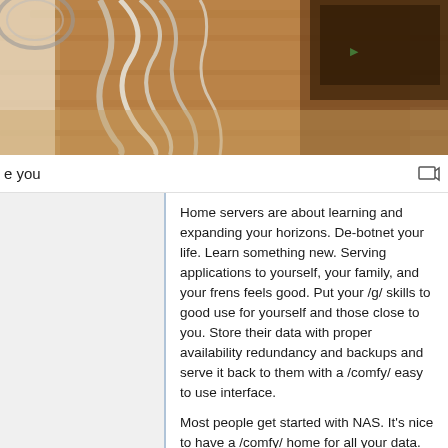[Figure (photo): Photo of cables and computer hardware on a wooden desk/floor, viewed from above. Wires and equipment visible.]
e you
Home servers are about learning and expanding your horizons. De-botnet your life. Learn something new. Serving applications to yourself, your family, and your frens feels good. Put your /g/ skills to good use for yourself and those close to you. Store their data with proper availability redundancy and backups and serve it back to them with a /comfy/ easy to use interface.
Most people get started with NAS. It's nice to have a /comfy/ home for all your data. Streaming your movies/shows around the house and to friends. Know all about NAS? Learn virtualization. Spin